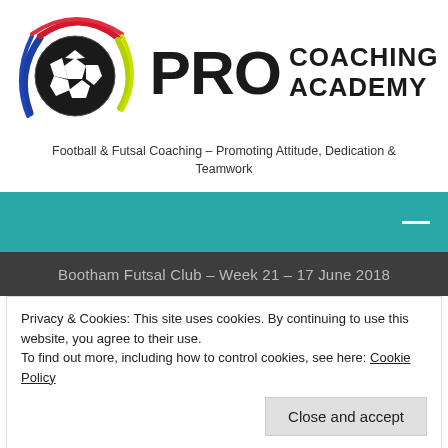[Figure (logo): Pro Coaching Academy logo with football and colorful arcs, text PRO COACHING ACADEMY]
Football & Futsal Coaching – Promoting Attitude, Dedication & Teamwork
[Figure (other): Teal navigation bar with hamburger/close icon on right]
Bootham Futsal Club – Week 21 – 17 June 2018
Privacy & Cookies: This site uses cookies. By continuing to use this website, you agree to their use.
To find out more, including how to control cookies, see here: Cookie Policy
Close and accept